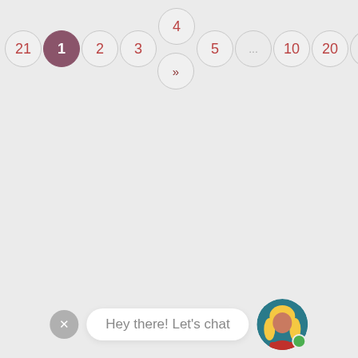[Figure (screenshot): Pagination row with page numbers: 21, 1 (active/highlighted in dark pink), 2, 3, 4 (with chevron >> below), 5, ..., 10, 20, ...]
[Figure (screenshot): Chat widget at bottom: grey X close button, white rounded bubble saying 'Hey there! Let's chat', and a teal circular avatar of a blonde woman with a green online indicator dot]